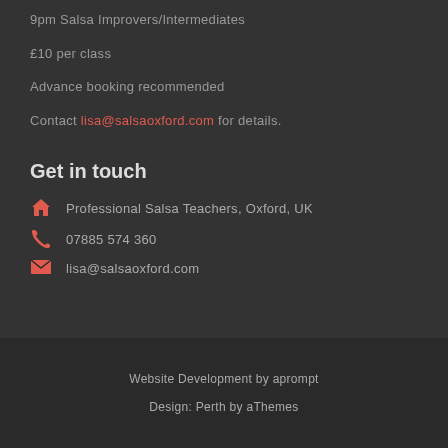9pm Salsa Improvers/Intermediates
£10 per class
Advance booking recommended
Contact lisa@salsaoxford.com for details.
Get in touch
Professional Salsa Teachers, Oxford, UK
07885 574 360
lisa@salsaoxford.com
Website Development by aprompt
Design: Perth by aThemes